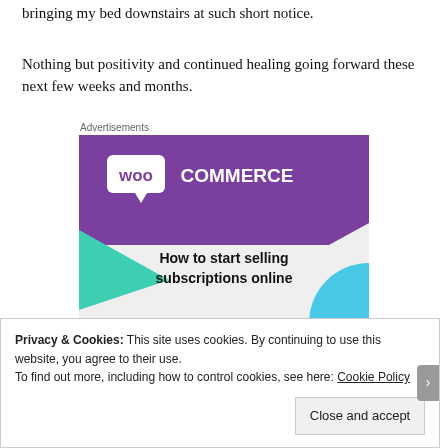bringing my bed downstairs at such short notice.
Nothing but positivity and continued healing going forward these next few weeks and months.
Advertisements
[Figure (screenshot): WooCommerce advertisement banner showing the WooCommerce logo on a purple background with teal and blue geometric shapes, and text 'How to start selling subscriptions online']
Privacy & Cookies: This site uses cookies. By continuing to use this website, you agree to their use.
To find out more, including how to control cookies, see here: Cookie Policy